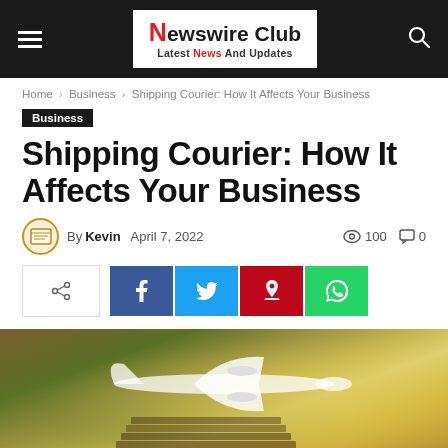Newswire Club — Latest News And Updates
Home › Business › Shipping Courier: How It Affects Your Business
Business
Shipping Courier: How It Affects Your Business
By Kevin  April 7, 2022  👁 100  💬 0
[Figure (screenshot): Social share buttons: share toggle, Facebook, Twitter, Pinterest, WhatsApp]
[Figure (photo): A toy airplane model sitting on books/documents with a blurred green bokeh background, representing shipping and courier services.]